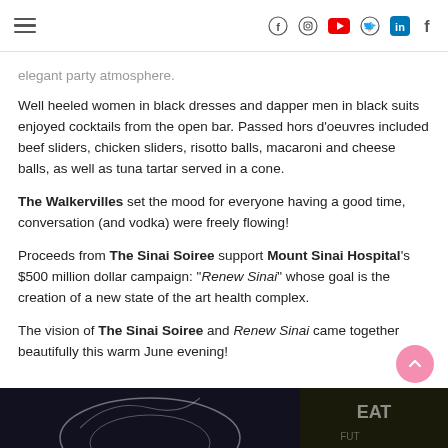Navigation and social media icons header
elegant party atmosphere.
Well heeled women in black dresses and dapper men in black suits enjoyed cocktails from the open bar. Passed hors d'oeuvres included beef sliders, chicken sliders, risotto balls, macaroni and cheese balls, as well as tuna tartar served in a cone.
The Walkervilles set the mood for everyone having a good time, conversation (and vodka) were freely flowing!
Proceeds from The Sinai Soiree support Mount Sinai Hospital's $500 million dollar campaign: "Renew Sinai" whose goal is the creation of a new state of the art health complex.
The vision of The Sinai Soiree and Renew Sinai came together beautifully this warm June evening!
[Figure (photo): Two dark photos at the bottom of the page showing event scenes]